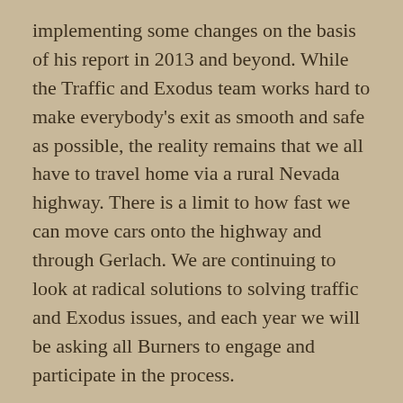implementing some changes on the basis of his report in 2013 and beyond. While the Traffic and Exodus team works hard to make everybody's exit as smooth and safe as possible, the reality remains that we all have to travel home via a rural Nevada highway. There is a limit to how fast we can move cars onto the highway and through Gerlach. We are continuing to look at radical solutions to solving traffic and Exodus issues, and each year we will be asking all Burners to engage and participate in the process.
The Gate opened at 6pm on Sunday August 26th, as stated in Burning Man's Special Recreation Permit with the BLM. As in prior years, some participants showed up prior to the opening time. This continues to present challenges as we work to avoid the local towns and highways becoming overwhelmed with traffic. We again implemented an early "staging lot" as a place to stash